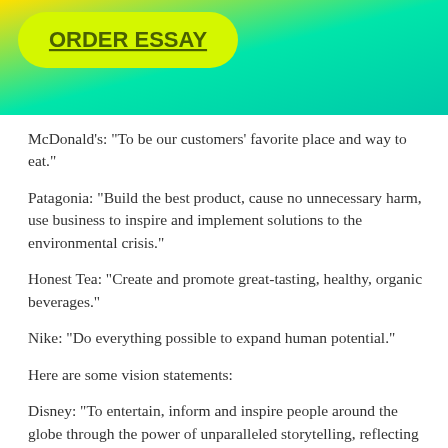[Figure (other): Green-yellow gradient banner header with ORDER ESSAY button]
McDonald’s: “To be our customers’ favorite place and way to eat.”
Patagonia: “Build the best product, cause no unnecessary harm, use business to inspire and implement solutions to the environmental crisis.”
Honest Tea: “Create and promote great-tasting, healthy, organic beverages.”
Nike: “Do everything possible to expand human potential.”
Here are some vision statements:
Disney: “To entertain, inform and inspire people around the globe through the power of unparalleled storytelling, reflecting the iconic brands, creative minds and innovative technologies that make ours the world’s premier